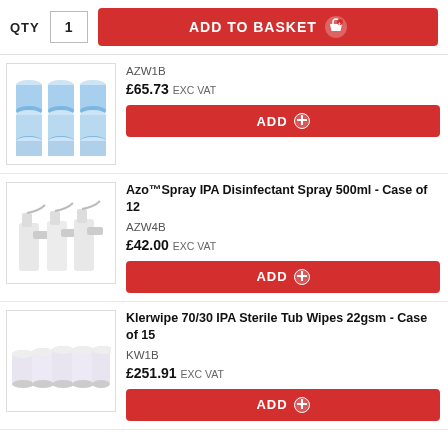QTY  1  ADD TO BASKET
[Figure (photo): Grid of 9 blue and white cylindrical wipe containers arranged 3x3]
AZW1B
£65.73 EXC VAT
ADD
[Figure (photo): Three white trigger spray bottles (Azo IPA Disinfectant Spray 500ml)]
Azo™Spray IPA Disinfectant Spray 500ml - Case of 12
AZW4B
£42.00 EXC VAT
ADD
[Figure (photo): Five white cylindrical tub wipe containers in a row (Klerwipe 70/30 IPA Sterile Tub Wipes)]
Klerwipe 70/30 IPA Sterile Tub Wipes 22gsm - Case of 15
KW1B
£251.91 EXC VAT
ADD